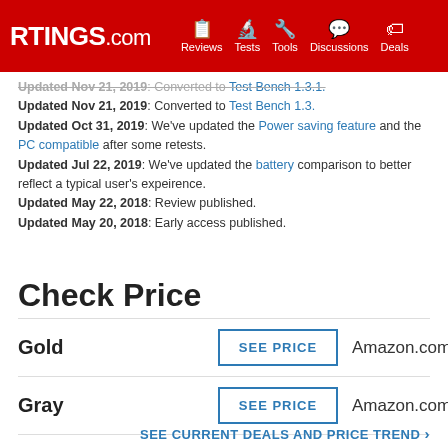RTINGS.com — Reviews, Tests, Tools, Discussions, Deals
Updated Nov 21, 2019: Converted to Test Bench 1.3.1. (strikethrough)
Updated Nov 21, 2019: Converted to Test Bench 1.3.
Updated Oct 31, 2019: We've updated the Power saving feature and the PC compatible after some retests.
Updated Jul 22, 2019: We've updated the battery comparison to better reflect a typical user's expeirence.
Updated May 22, 2018: Review published.
Updated May 20, 2018: Early access published.
Check Price
| Color | Price | Retailer |
| --- | --- | --- |
| Gold | SEE PRICE | Amazon.com |
| Gray | SEE PRICE | Amazon.com |
SEE CURRENT DEALS AND PRICE TREND >